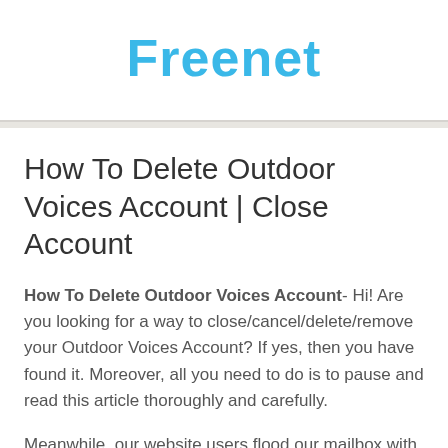Freenet
How To Delete Outdoor Voices Account | Close Account
How To Delete Outdoor Voices Account- Hi! Are you looking for a way to close/cancel/delete/remove your Outdoor Voices Account? If yes, then you have found it. Moreover, all you need to do is to pause and read this article thoroughly and carefully.
Meanwhile, our website users flood our mailbox with requests on how to delete their accounts from the Outdoor